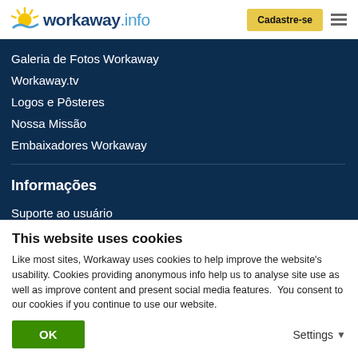[Figure (logo): Workaway.info logo with sun icon]
Galeria de Fotos Workaway
Workaway.tv
Logos e Pôsteres
Nossa Missão
Embaixadores Workaway
Informações
Suporte ao usuário
Segurança
FAQ
Seguro
This website uses cookies
Like most sites, Workaway uses cookies to help improve the website's usability. Cookies providing anonymous info help us to analyse site use as well as improve content and present social media features.  You consent to our cookies if you continue to use our website.